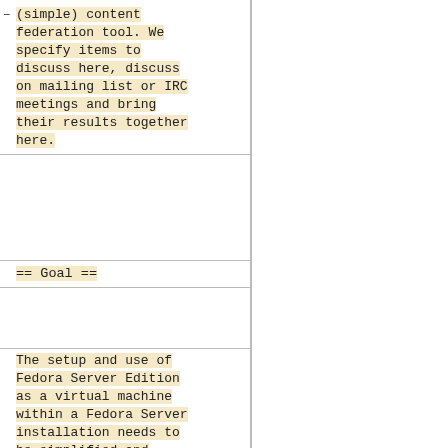(simple) content federation tool. We specify items to discuss here, discuss on mailing list or IRC meetings and bring their results together here.
== Goal ==
The setup and use of Fedora Server Edition as a virtual machine within a Fedora Server installation needs to be simplified and facilitated. As far as possible, the virtual machine should have